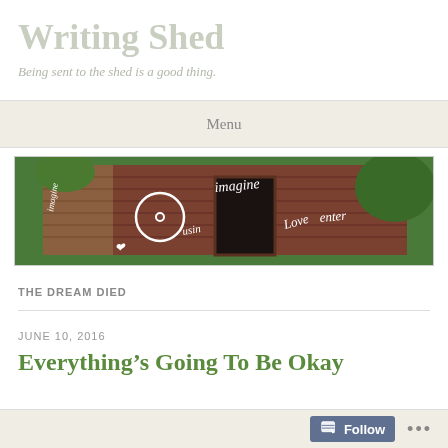Writing Shed
Being sent to the shed is a good thing.
Menu
[Figure (photo): A brown wooden shed with white graffiti text including 'imagine', 'love', 'enter' and other words, surrounded by green foliage]
THE DREAM DIED
JUNE 10, 2016
Everything’s Going To Be Okay
Follow ...